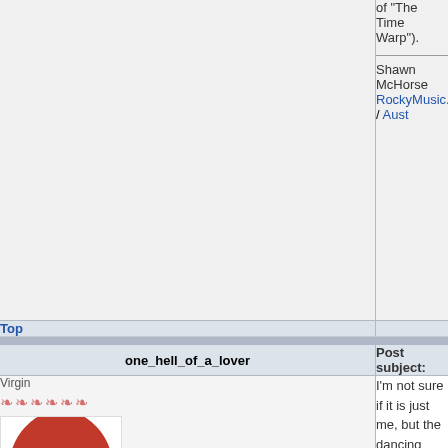of "The Time Warp").
Shawn McHorse
RockyMusic.org / Aust
Top
one_hell_of_a_lover
Post subject:
Virgin
[Figure (illustration): Avatar image of a stylized red and white illustration of a person with curly hair and sunglasses, open mouth, Rocky Horror style]
Joined: Mon Feb 12, 2007 11:43 pm
Posts: 11
Location: San Fransisco, CA
I'm not sure if it is just me, but the dancing seems jerky. is it just me?
I'm Not Much Of A Man By The Light Of Day But By Night I'm One Hell Of A Lover!
Top
Riff Raff
Post subject: